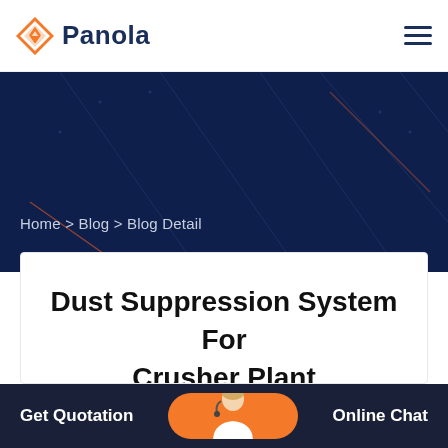Panola
[Figure (screenshot): Dark navy hero banner with diagonal geometric line patterns and breadcrumb navigation reading: Home > Blog > Blog Detail]
Home > Blog > Blog Detail
Dust Suppression System For Crusher Plant
Crusher operation dust suppression with a crusher dust control system tha... applies Renotech wetting
Get Quotation   Online Chat